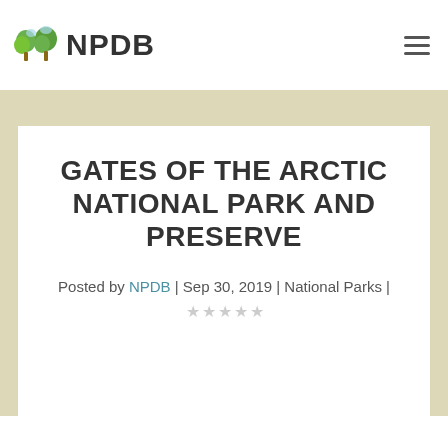NPDB
GATES OF THE ARCTIC NATIONAL PARK AND PRESERVE
Posted by NPDB | Sep 30, 2019 | National Parks | ☆☆☆☆☆